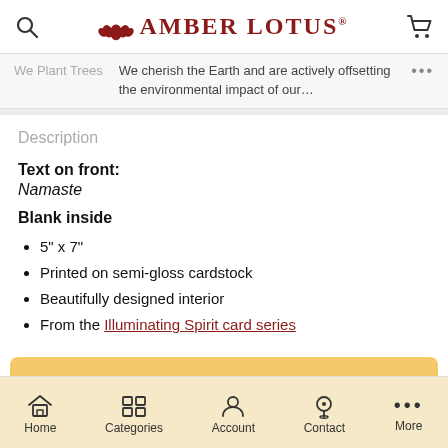AMBER LOTUS
We Plant Trees — We cherish the Earth and are actively offsetting the environmental impact of our...
Description
Text on front:
Namaste
Blank inside
5" x 7"
Printed on semi-gloss cardstock
Beautifully designed interior
From the Illuminating Spirit card series
ADD TO CART
Home  Categories  Account  Contact  More